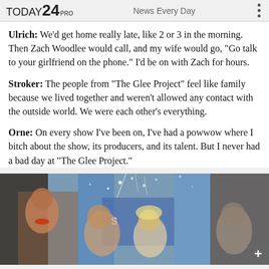TODAY 24 PRO — News Every Day
Ulrich: We'd get home really late, like 2 or 3 in the morning. Then Zach Woodlee would call, and my wife would go, "Go talk to your girlfriend on the phone." I'd be on with Zach for hours.
Stroker: The people from "The Glee Project" feel like family because we lived together and weren't allowed any contact with the outside world. We were each other's everything.
Orne: On every show I've been on, I've had a powwow where I bitch about the show, its producers, and its talent. But I never had a bad day at "The Glee Project."
[Figure (photo): Group of young people celebrating, some shirtless, with confetti or water spray, in front of colorful curtains and signage.]